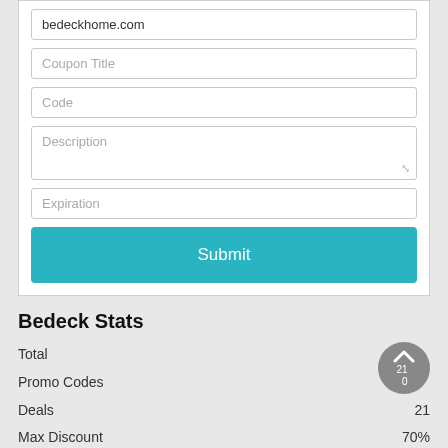bedeckhome.com
Coupon Title
Code
Description
Expiration
Submit
Bedeck Stats
|  |  |
| --- | --- |
| Total | 21 |
| Promo Codes | 0 |
| Deals | 21 |
| Max Discount | 70% |
| Last Updated | August 2022 |